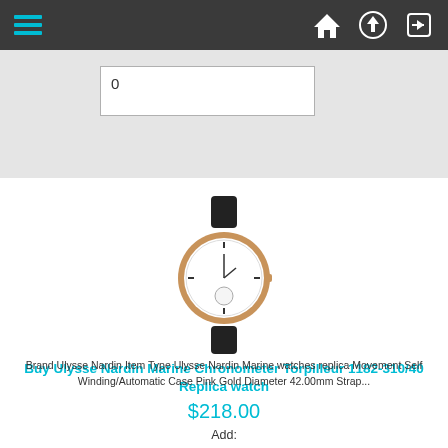Navigation bar with hamburger menu and icons
0
[Figure (photo): Ulysse Nardin Marine Chronometer Torpilleur 1182-310/40 watch with rose gold case, white dial, and black leather strap]
Buy Ulysse Nardin Marine Chronometer Torpilleur 1182-310/40 Replica watch
Brand Ulysse Nardin Item Type Ulysse Nardin Marine watches replica Movement Self Winding/Automatic Case Pink Gold Diameter 42.00mm Strap...
$218.00
Add:
0